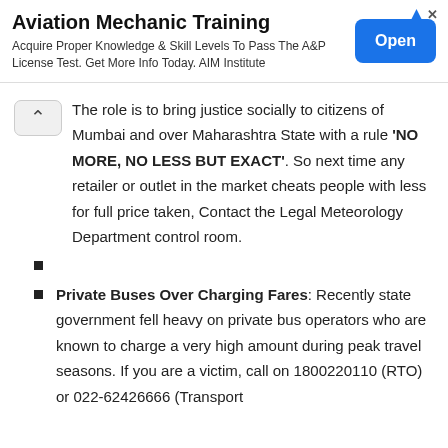[Figure (other): Advertisement banner for Aviation Mechanic Training with Open button]
The role is to bring justice socially to citizens of Mumbai and over Maharashtra State with a rule 'NO MORE, NO LESS BUT EXACT'. So next time any retailer or outlet in the market cheats people with less for full price taken, Contact the Legal Meteorology Department control room.
Private Buses Over Charging Fares: Recently state government fell heavy on private bus operators who are known to charge a very high amount during peak travel seasons. If you are a victim, call on 1800220110 (RTO) or 022-62426666 (Transport